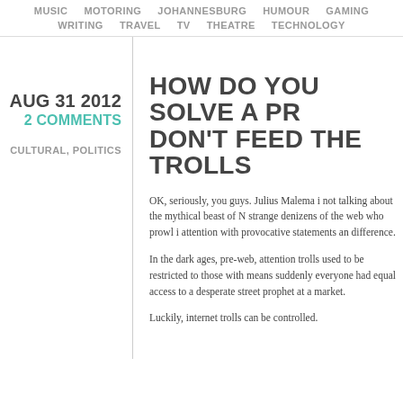MUSIC  MOTORING  JOHANNESBURG  HUMOUR  GAMING  WRITING  TRAVEL  TV  THEATRE  TECHNOLOGY
AUG 31 2012
2 COMMENTS
CULTURAL, POLITICS
HOW DO YOU SOLVE A PR… DON'T FEED THE TROLLS
OK, seriously, you guys. Julius Malema i… not talking about the mythical beast of N… strange denizens of the web who prowl i… attention with provocative statements an… difference.
In the dark ages, pre-web, attention trolls… used to be restricted to those with means… suddenly everyone had equal access to a… a desperate street prophet at a market.
Luckily, internet trolls can be controlled.